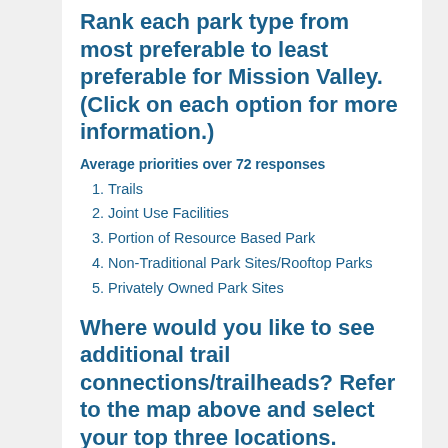Rank each park type from most preferable to least preferable for Mission Valley. (Click on each option for more information.)
Average priorities over 72 responses
1. Trails
2. Joint Use Facilities
3. Portion of Resource Based Park
4. Non-Traditional Park Sites/Rooftop Parks
5. Privately Owned Park Sites
Where would you like to see additional trail connections/trailheads? Refer to the map above and select your top three locations.